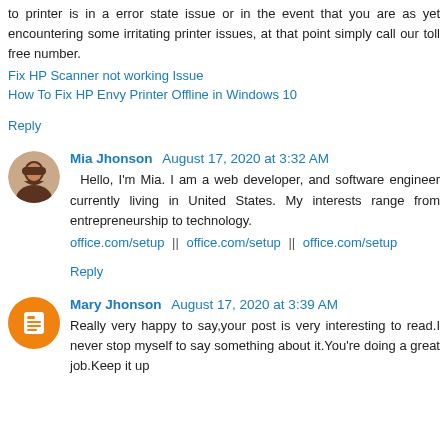to printer is in a error state issue or in the event that you are as yet encountering some irritating printer issues, at that point simply call our toll free number.
Fix HP Scanner not working Issue
How To Fix HP Envy Printer Offline in Windows 10
Reply
Mia Jhonson August 17, 2020 at 3:32 AM
Hello, I'm Mia. I am a web developer, and software engineer currently living in United States. My interests range from entrepreneurship to technology.
office.com/setup  ||  office.com/setup  ||  office.com/setup
Reply
Mary Jhonson August 17, 2020 at 3:39 AM
Really very happy to say,your post is very interesting to read.I never stop myself to say something about it.You're doing a great job.Keep it up